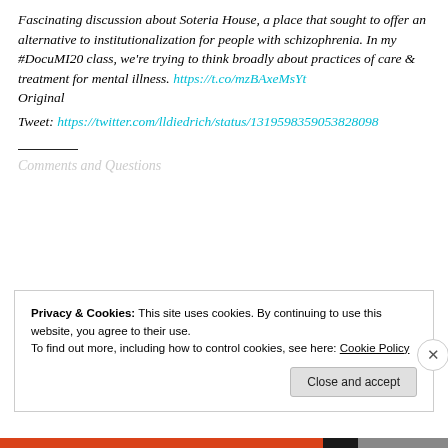Fascinating discussion about Soteria House, a place that sought to offer an alternative to institutionalization for people with schizophrenia. In my #DocuMI20 class, we're trying to think broadly about practices of care &amp; treatment for mental illness. https://t.co/mzBAxeMsYt Original
Tweet: https://twitter.com/lldiedrich/status/1319598359053828098
Privacy & Cookies: This site uses cookies. By continuing to use this website, you agree to their use. To find out more, including how to control cookies, see here: Cookie Policy